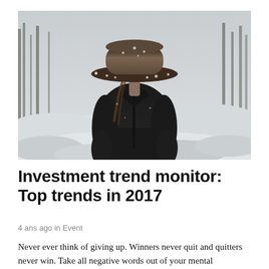[Figure (photo): A person wearing a dark jacket and a wide-brimmed fedora hat covered in snow, head bowed, standing in a snowy wooded outdoor scene. The background shows snow-covered rocks and bare trees.]
Investment trend monitor: Top trends in 2017
4 ans ago in Event
Never ever think of giving up. Winners never quit and quitters never win. Take all negative words out of your mental dictionary and focus on the solutions with utmost